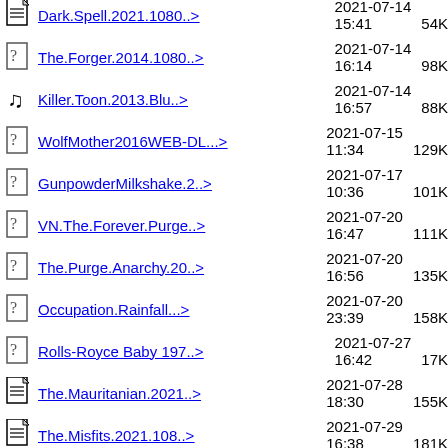Dark.Spell.2021.1080..> 2021-07-14 15:41 54K
The.Forger.2014.1080..> 2021-07-14 16:14 98K
Killer.Toon.2013.Blu..> 2021-07-14 16:57 88K
WolfMother2016WEB-DL...> 2021-07-15 11:34 129K
GunpowderMilkshake.2..> 2021-07-17 10:36 101K
VN.The.Forever.Purge..> 2021-07-20 16:47 111K
The.Purge.Anarchy.20..> 2021-07-20 16:56 135K
Occupation.Rainfall...> 2021-07-20 23:39 158K
Rolls-Royce Baby 197..> 2021-07-27 16:42 17K
The.Mauritanian.2021..> 2021-07-28 18:30 155K
The.Misfits.2021.108..> 2021-07-29 16:38 181K
SEx20-1983-1080p-Blu..> 2021-07-30 87K